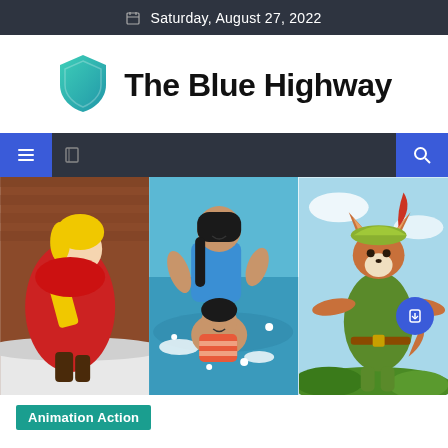Saturday, August 27, 2022
The Blue Highway
[Figure (illustration): Three animated cartoon panels side by side: left panel shows a blonde character in red cape, middle panel shows two animated women/girls playing in water, right panel shows an animated fox character in green outfit with yellow hat]
Animation Action